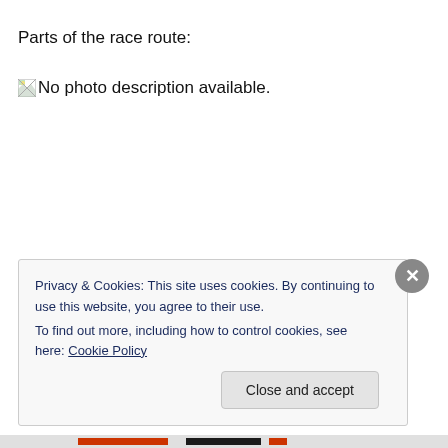Parts of the race route:
[Figure (photo): Broken image placeholder with text: No photo description available.]
Privacy & Cookies: This site uses cookies. By continuing to use this website, you agree to their use.
To find out more, including how to control cookies, see here: Cookie Policy
Close and accept